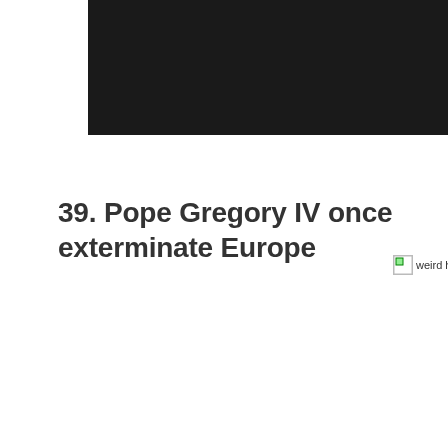[Figure (other): Black bar / header image area at top of page (partially visible, cropped)]
39. Pope Gregory IV once exterminate Europe
[Figure (other): Broken/unloaded image placeholder with alt text 'weird historical f...']